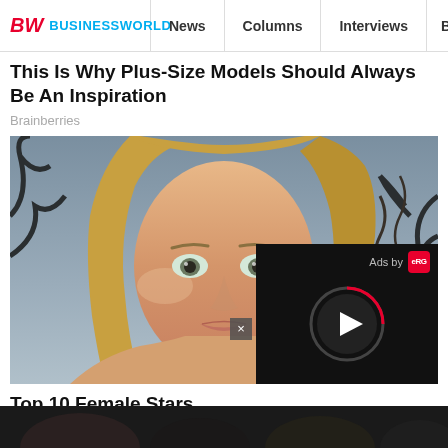BW BUSINESSWORLD | News | Columns | Interviews | BW
This Is Why Plus-Size Models Should Always Be An Inspiration
Brainberries
[Figure (photo): Portrait photo of a young blonde woman with straight hair, looking directly at camera, with dark trees/branches and cloudy sky in background]
Top 10 Female Stars Everyone H[ad a Crush On] In The 90s
Brainberries
[Figure (screenshot): Partial view of advertisement overlay with video player (play button), 'Ads by' label with red logo, and X close button. Black background with circular play button.]
[Figure (photo): Bottom strip showing partial view of another article's image — dark-haired people visible]